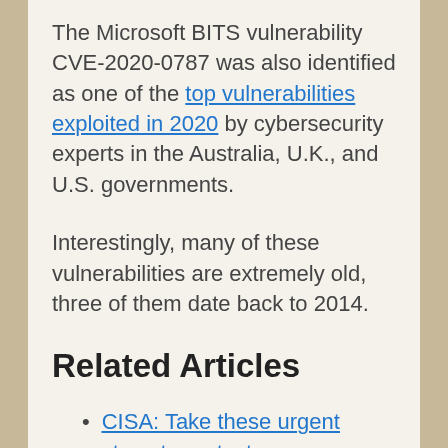The Microsoft BITS vulnerability CVE-2020-0787 was also identified as one of the top vulnerabilities exploited in 2020 by cybersecurity experts in the Australia, U.K., and U.S. governments.
Interestingly, many of these vulnerabilities are extremely old, three of them date back to 2014.
Related Articles
CISA: Take these urgent steps to protect your organization against potential critical cybersecurity